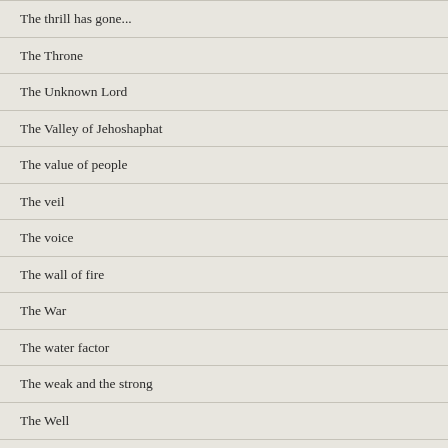The thrill has gone...
The Throne
The Unknown Lord
The Valley of Jehoshaphat
The value of people
The veil
The voice
The wall of fire
The War
The water factor
The weak and the strong
The Well